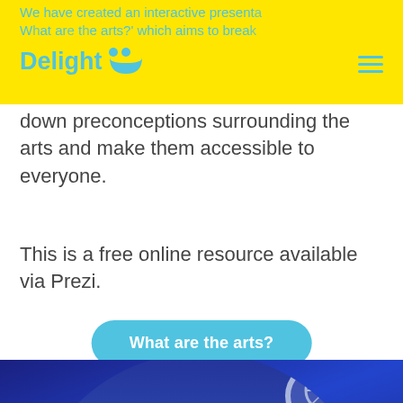Delight
We have created an interactive presentation 'What are the arts?' which aims to break down preconceptions surrounding the arts and make them accessible to everyone.
This is a free online resource available via Prezi.
What are the arts?
[Figure (photo): Children in theatrical costumes with crowns on a stage with blue lighting and a circular window in the background]